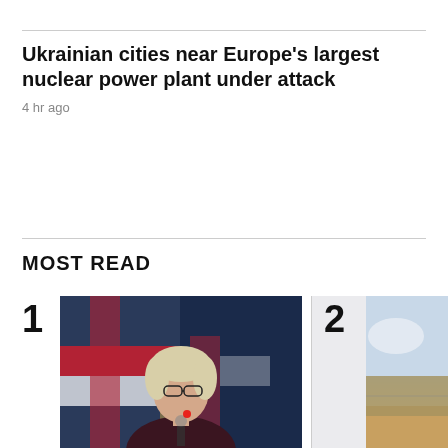Ukrainian cities near Europe's largest nuclear power plant under attack
4 hr ago
MOST READ
[Figure (photo): Photo of a woman with glasses and blonde hair in a dark top speaking at a podium with BC flags in the background]
B.C. back-to-school plans: Henry rejects mask mandate as 'blunt
[Figure (photo): Partially visible outdoor landscape photo]
B.C. n solo c